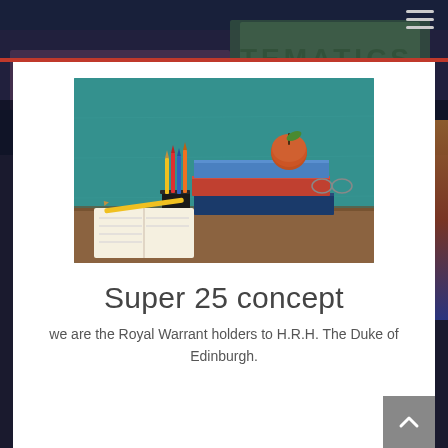[Figure (photo): Classroom scene with teal/green chalkboard background, stack of books with an apple on top, pencil holder with colored pencils, and an open notebook on a wooden desk.]
Super 25 concept
we are the Royal Warrant holders to H.R.H. The Duke of Edinburgh.